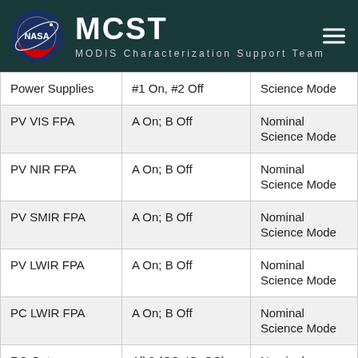MCST — MODIS Characterization Support Team
| Power Supplies | #1 On, #2 Off | Science Mode |
| PV VIS FPA | A On; B Off | Nominal Science Mode |
| PV NIR FPA | A On; B Off | Nominal Science Mode |
| PV SMIR FPA | A On; B Off | Nominal Science Mode |
| PV LWIR FPA | A On; B Off | Nominal Science Mode |
| PC LWIR FPA | A On; B Off | Nominal Science Mode |
| RC Outgas Heaters | All 3 (CS, IS, OS) Off | Nominal Science Mode |